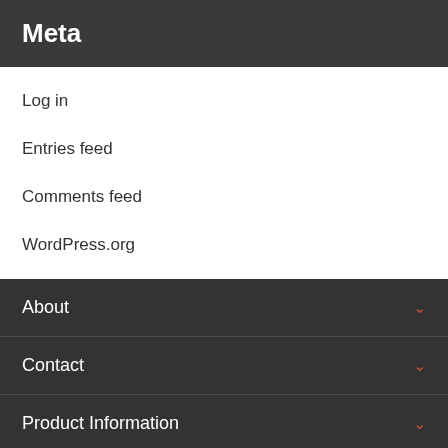Meta
Log in
Entries feed
Comments feed
WordPress.org
About
Contact
Product Information
Catalogue
Careers
Trade